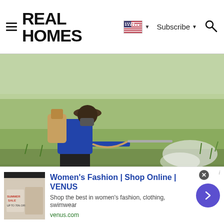REAL HOMES
[Figure (photo): A person wearing a wide-brimmed hat and face mask, carrying a large pesticide tank on their back, spraying herbicide over a green rice paddy field. White spray mist is visible in the air.]
Jury Finds Roundup Responsible For
[Figure (other): Advertisement banner for VENUS women's fashion online shop with a thumbnail image, title link, subtitle, and website URL with a circular purple arrow button.]